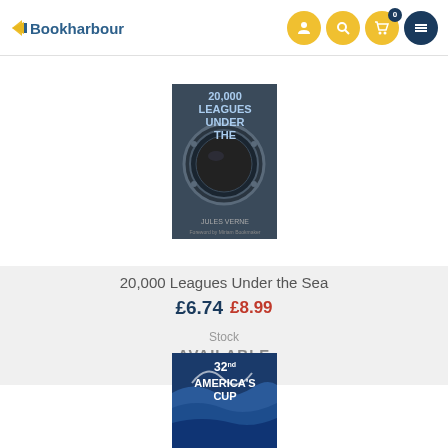Bookharbour
[Figure (photo): Book cover of '20,000 Leagues Under the Sea' by Jules Verne with a submarine porthole image]
20,000 Leagues Under the Sea
£6.74 £8.99
Stock
AVAILABLE
[Figure (photo): Book cover of '32nd America's Cup' with a sailing/wave image]